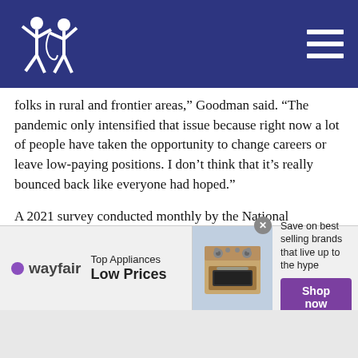[Figure (logo): Website header with dark blue/navy background, white silhouette logo of two people (musician figures) on the left, and a hamburger menu icon (three white horizontal lines) on the right.]
folks in rural and frontier areas,” Goodman said. “The pandemic only intensified that issue because right now a lot of people have taken the opportunity to change careers or leave low-paying positions. I don’t think that it’s really bounced back like everyone had hoped.”
A 2021 survey conducted monthly by the National Healthcare Safety Network showed shortages among nurses and aides in 25–30% of the responding long-term care sites.
Earlier this year, the state allocated $51 million from the American Rescue Plan Act to Medicaid home and community-based services providers, beginning this month. The bonuses
[Figure (screenshot): Wayfair advertisement banner. Left side shows Wayfair logo and text 'Top Appliances Low Prices'. Middle shows a stove/range appliance image. Right side shows text 'Save on best selling brands that live up to the hype' and a purple 'Shop now' button. A close (x) button appears at top right of the ad.]